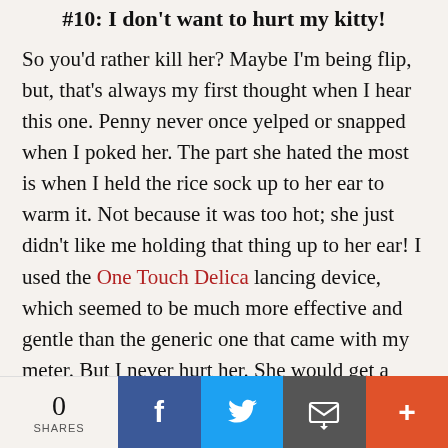#10: I don't want to hurt my kitty!
So you'd rather kill her? Maybe I'm being flip, but, that's always my first thought when I hear this one. Penny never once yelped or snapped when I poked her. The part she hated the most is when I held the rice sock up to her ear to warm it. Not because it was too hot; she just didn't like me holding that thing up to her ear! I used the One Touch Delica lancing device, which seemed to be much more effective and gentle than the generic one that came with my meter. But I never hurt her. She would get a little sore when I had to test her often to steer her
0 SHARES | Facebook | Twitter | Email | More